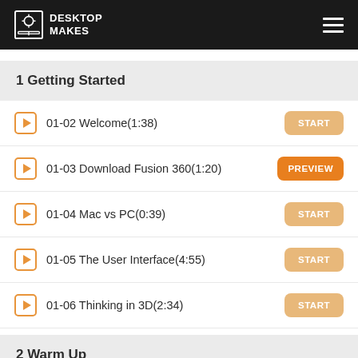DESKTOP MAKES
1 Getting Started
01-02 Welcome(1:38)
01-03 Download Fusion 360(1:20)
01-04 Mac vs PC(0:39)
01-05 The User Interface(4:55)
01-06 Thinking in 3D(2:34)
2 Warm Up